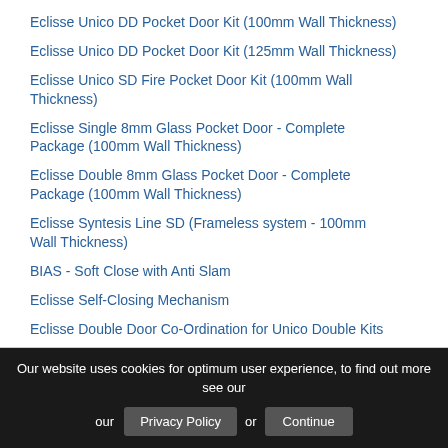Eclisse Unico DD Pocket Door Kit (100mm Wall Thickness)
Eclisse Unico DD Pocket Door Kit (125mm Wall Thickness)
Eclisse Unico SD Fire Pocket Door Kit (100mm Wall Thickness)
Eclisse Single 8mm Glass Pocket Door - Complete Package (100mm Wall Thickness)
Eclisse Double 8mm Glass Pocket Door - Complete Package (100mm Wall Thickness)
Eclisse Syntesis Line SD (Frameless system - 100mm Wall Thickness)
BIAS - Soft Close with Anti Slam
Eclisse Self-Closing Mechanism
Eclisse Double Door Co-Ordination for Unico Double Kits
Eclisse Motorised Unit - Emotion
Eclisse Simple Flush Pull Set
Eclisse Bathroom Lock Set - For 35mm Doors
Our website uses cookies for optimum user experience, to find out more see our Privacy Policy or Continue